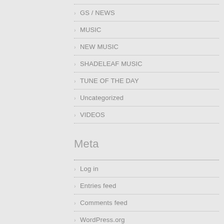GS / NEWS
MUSIC
NEW MUSIC
SHADELEAF MUSIC
TUNE OF THE DAY
Uncategorized
VIDEOS
Meta
Log in
Entries feed
Comments feed
WordPress.org